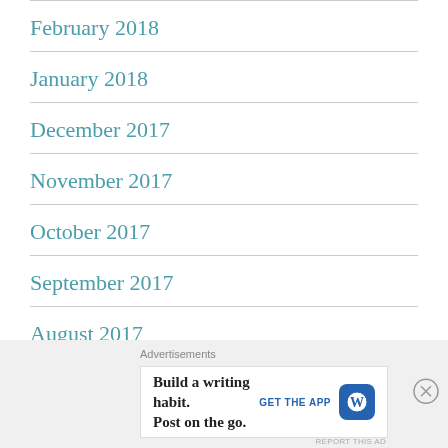February 2018
January 2018
December 2017
November 2017
October 2017
September 2017
August 2017
July 2017
[Figure (infographic): Advertisement banner: 'Build a writing habit. Post on the go.' with GET THE APP button and WordPress logo icon, with close button and REPORT THIS AD text]